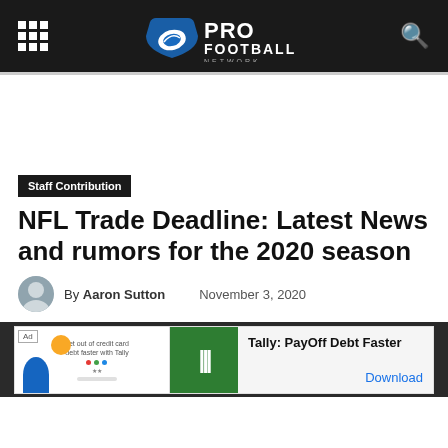Pro Football Network
Staff Contribution
NFL Trade Deadline: Latest News and rumors for the 2020 season
By Aaron Sutton   November 3, 2020
[Figure (infographic): Advertisement banner: Tally: PayOff Debt Faster with Download link]